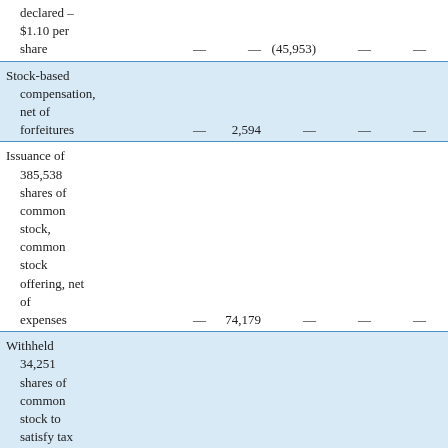| Description | Col1 | Col2 | Col3 | Col4 | Col5 | Col6 |
| --- | --- | --- | --- | --- | --- | --- |
| declared – $1.10 per share | — | — | (45,953) | — | — | (45,9… |
| Stock-based compensation, net of forfeitures | — | 2,594 | — | — | — | 2,5… |
| Issuance of 385,538 shares of common stock, common stock offering, net of expenses | — | 74,179 | — | — | — | 74,1… |
| Withheld 34,251 shares of common stock to satisfy tax withholding |  |  |  |  |  |  |